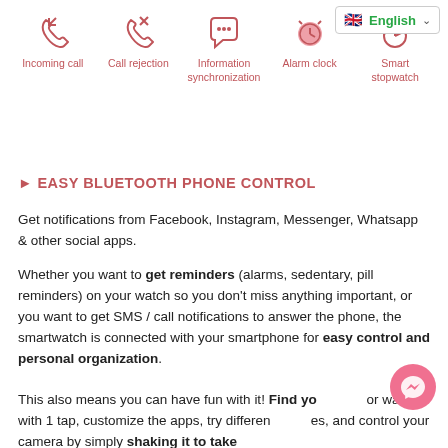[Figure (infographic): Language selector dropdown showing UK flag and English label with chevron]
[Figure (infographic): Five icons for smartwatch features: Incoming call (phone with arrow), Call rejection (phone with X), Information synchronization (chat bubble with dots), Alarm clock (bell/clock icon), Smart stopwatch (stopwatch icon). Each icon is salmon/red color with label beneath.]
EASY BLUETOOTH PHONE CONTROL
Get notifications from Facebook, Instagram, Messenger, Whatsapp & other social apps.
Whether you want to get reminders (alarms, sedentary, pill reminders) on your watch so you don't miss anything important, or you want to get SMS / call notifications to answer the phone, the smartwatch is connected with your smartphone for easy control and personal organization.
This also means you can have fun with it! Find you or watch with 1 tap, customize the apps, try differen and control your camera by simply shaking it to take